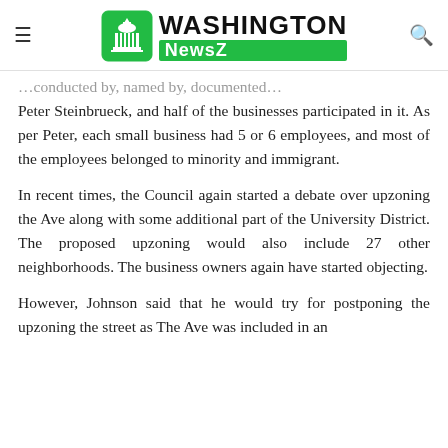Washington NewsZ
Peter Steinbrueck, and half of the businesses participated in it. As per Peter, each small business had 5 or 6 employees, and most of the employees belonged to minority and immigrant.
In recent times, the Council again started a debate over upzoning the Ave along with some additional part of the University District. The proposed upzoning would also include 27 other neighborhoods. The business owners again have started objecting.
However, Johnson said that he would try for postponing the upzoning the street as The Ave was included in an